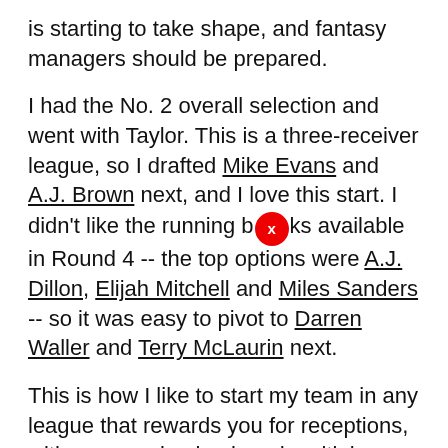is starting to take shape, and fantasy managers should be prepared.
I had the No. 2 overall selection and went with Taylor. This is a three-receiver league, so I drafted Mike Evans and A.J. Brown next, and I love this start. I didn't like the running backs available in Round 4 -- the top options were A.J. Dillon, Elijah Mitchell and Miles Sanders -- so it was easy to pivot to Darren Waller and Terry McLaurin next.
This is how I like to start my team in any league that rewards you for receptions, with one running back and multiple pass catchers through five